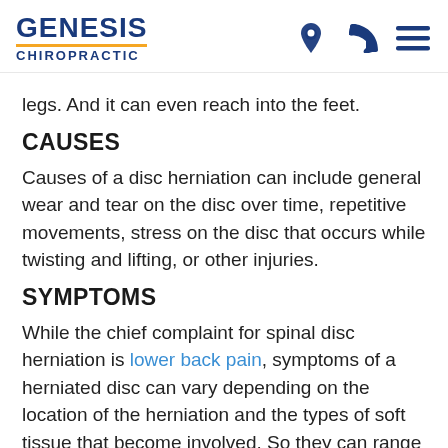GENESIS CHIROPRACTIC
legs. And it can even reach into the feet.
CAUSES
Causes of a disc herniation can include general wear and tear on the disc over time, repetitive movements, stress on the disc that occurs while twisting and lifting, or other injuries.
SYMPTOMS
While the chief complaint for spinal disc herniation is lower back pain, symptoms of a herniated disc can vary depending on the location of the herniation and the types of soft tissue that become involved. So they can range from little